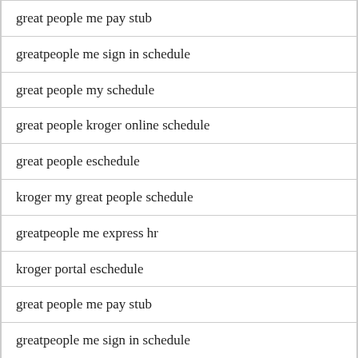great people me pay stub
greatpeople me sign in schedule
great people my schedule
great people kroger online schedule
great people eschedule
kroger my great people schedule
greatpeople me express hr
kroger portal eschedule
great people me pay stub
greatpeople me sign in schedule